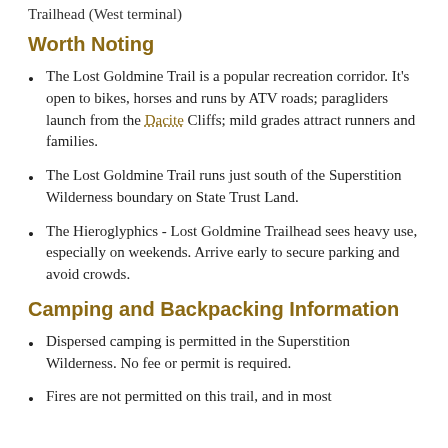Trailhead (West terminal)
Worth Noting
The Lost Goldmine Trail is a popular recreation corridor. It's open to bikes, horses and runs by ATV roads; paragliders launch from the Dacite Cliffs; mild grades attract runners and families.
The Lost Goldmine Trail runs just south of the Superstition Wilderness boundary on State Trust Land.
The Hieroglyphics - Lost Goldmine Trailhead sees heavy use, especially on weekends. Arrive early to secure parking and avoid crowds.
Camping and Backpacking Information
Dispersed camping is permitted in the Superstition Wilderness. No fee or permit is required.
Fires are not permitted on this trail, and in most